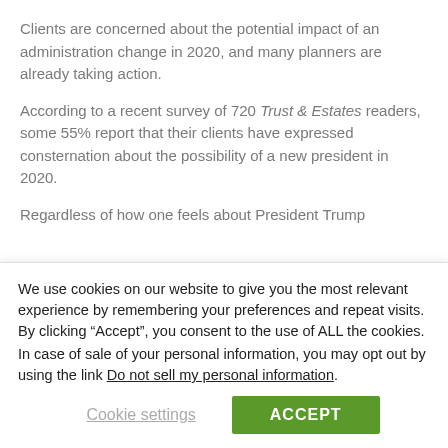Clients are concerned about the potential impact of an administration change in 2020, and many planners are already taking action.
According to a recent survey of 720 Trust & Estates readers, some 55% report that their clients have expressed consternation about the possibility of a new president in 2020.
Regardless of how one feels about President Trump
We use cookies on our website to give you the most relevant experience by remembering your preferences and repeat visits. By clicking “Accept”, you consent to the use of ALL the cookies.
In case of sale of your personal information, you may opt out by using the link Do not sell my personal information.
Cookie settings
ACCEPT